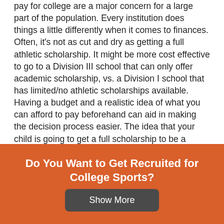pay for college are a major concern for a large part of the population. Every institution does things a little differently when it comes to finances. Often, it's not as cut and dry as getting a full athletic scholarship. It might be more cost effective to go to a Division III school that can only offer academic scholarship, vs. a Division I school that has limited/no athletic scholarships available. Having a budget and a realistic idea of what you can afford to pay beforehand can aid in making the decision process easier. The idea that your child is going to get a full scholarship to be a collegiate athlete might not be too realistic. There is a very small percentage of the athletic population playing on a full ride. There is also high-level competition across every division, whether athletic
Do You Want to Get Recruited for College Sports?
Show More